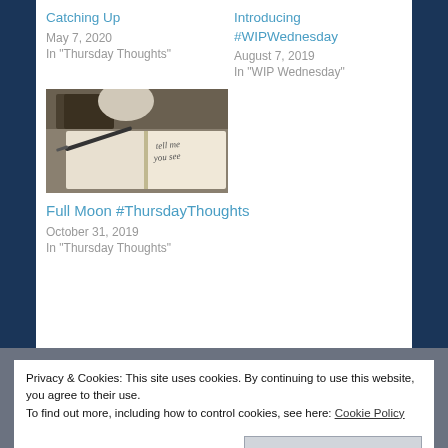Catching Up
May 7, 2020
In "Thursday Thoughts"
Introducing #WIPWednesday
August 7, 2019
In "WIP Wednesday"
[Figure (photo): Open journal/notebook with handwritten cursive text visible, pen resting on it, book stack in background, dark moody tones]
Full Moon #ThursdayThoughts
October 31, 2019
In "Thursday Thoughts"
Privacy & Cookies: This site uses cookies. By continuing to use this website, you agree to their use.
To find out more, including how to control cookies, see here: Cookie Policy
Close and accept
Thoughts, Working from Home